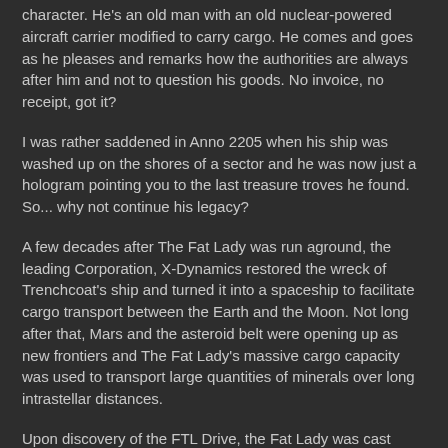character. He's an old man with an old nuclear-powered aircraft carrier modified to carry cargo. He comes and goes as he pleases and remarks how the authorities are always after him and not to question his goods. No invoice, no receipt, got it?
I was rather saddened in Anno 2205 when his ship was washed up on the shores of a sector and he was now just a hologram pointing you to the last treasure troves he found.
So... why not continue his legacy?
A few decades after The Fat Lady was run aground, the leading Corporation, X-Dynamics restored the wreck of Trenchcoat's ship and turned it into a spaceship to facilitate cargo transport between the Earth and the Moon. Not long after that, Mars and the asteroid belt were opening up as new frontiers and The Fat Lady's massive cargo capacity was used to transport large quantities of minerals over long intrastellar distances.
Upon discovery of the FTL Drive, the Fat Lady was cast aside for faster, more powerful ships and left to rot in a junkyard somewhere near Ceres, the Trenchcoat Avatar standing guard and organising repairs to prevent his beloved ship from falling apart. He also salvaged an old FTL drive and attached it to the ship.
For centuries though, the Fat Lady remained until an enterprising salvager boarded the ship and earned the favour of Trenchcoat. It still held up